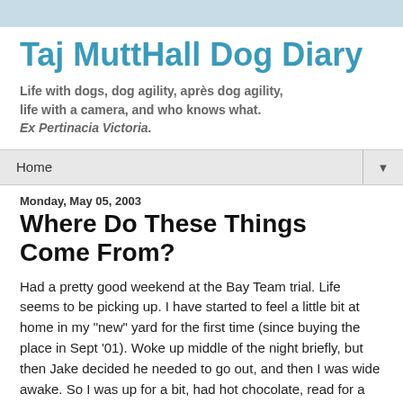Taj MuttHall Dog Diary
Life with dogs, dog agility, après dog agility, life with a camera, and who knows what.
Ex Pertinacia Victoria.
Home ▼
Monday, May 05, 2003
Where Do These Things Come From?
Had a pretty good weekend at the Bay Team trial. Life seems to be picking up. I have started to feel a little bit at home in my "new" yard for the first time (since buying the place in Sept '01). Woke up middle of the night briefly, but then Jake decided he needed to go out, and then I was wide awake. So I was up for a bit, had hot chocolate, read for a while, went back to bed. Was just dozing off, jake's snooker runs running vaguely through my head, when all of a sudden I was